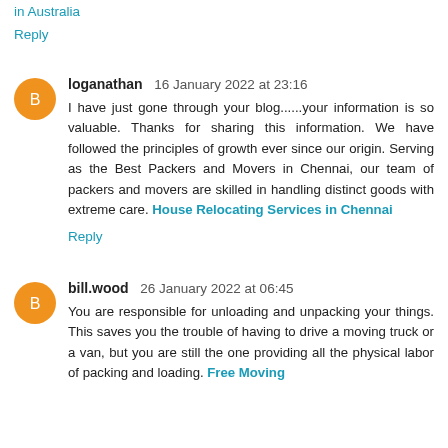in Australia
Reply
loganathan 16 January 2022 at 23:16
I have just gone through your blog......your information is so valuable. Thanks for sharing this information. We have followed the principles of growth ever since our origin. Serving as the Best Packers and Movers in Chennai, our team of packers and movers are skilled in handling distinct goods with extreme care. House Relocating Services in Chennai
Reply
bill.wood 26 January 2022 at 06:45
You are responsible for unloading and unpacking your things. This saves you the trouble of having to drive a moving truck or a van, but you are still the one providing all the physical labor of packing and loading. Free Moving trucks